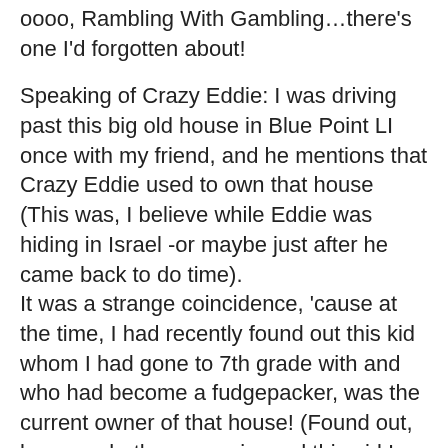oooo, Rambling With Gambling…there's one I'd forgotten about!
Speaking of Crazy Eddie: I was driving past this big old house in Blue Point LI once with my friend, and he mentions that Crazy Eddie used to own that house (This was, I believe while Eddie was hiding in Israel -or maybe just after he came back to do time).
It was a strange coincidence, 'cause at the time, I had recently found out this kid whom I had gone to 7th grade with and who had become a fudgepacker, was the current owner of that house! (Found out, because both my cousin, and this girl I had gone on a date with, both knew the fudgepacker, and he had come up in conversation while we were reminiscing, because I'd mention "That kid Joe who always used toi wave to me in